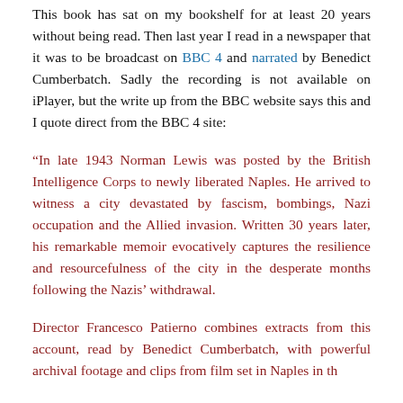This book has sat on my bookshelf for at least 20 years without being read. Then last year I read in a newspaper that it was to be broadcast on BBC 4 and narrated by Benedict Cumberbatch. Sadly the recording is not available on iPlayer, but the write up from the BBC website says this and I quote direct from the BBC 4 site:
“In late 1943 Norman Lewis was posted by the British Intelligence Corps to newly liberated Naples. He arrived to witness a city devastated by fascism, bombings, Nazi occupation and the Allied invasion. Written 30 years later, his remarkable memoir evocatively captures the resilience and resourcefulness of the city in the desperate months following the Nazis’ withdrawal.
Director Francesco Patierno combines extracts from this account, read by Benedict Cumberbatch, with powerful archival footage and clips from film set in Naples in the...